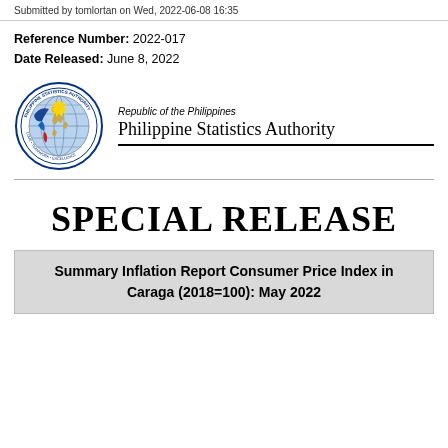Submitted by tomlortan on Wed, 2022-06-08 16:35
Reference Number: 2022-017
Date Released: June 8, 2022
[Figure (logo): Philippine Statistics Authority official seal/logo with globe and Philippine map]
Republic of the Philippines
Philippine Statistics Authority
SPECIAL RELEASE
Summary Inflation Report Consumer Price Index in Caraga (2018=100): May 2022